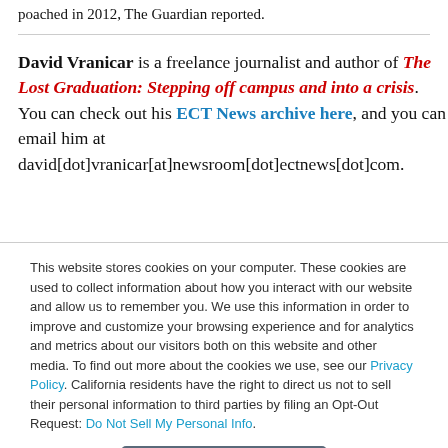poached in 2012, The Guardian reported.
David Vranicar is a freelance journalist and author of The Lost Graduation: Stepping off campus and into a crisis. You can check out his ECT News archive here, and you can email him at david[dot]vranicar[at]newsroom[dot]ectnews[dot]com.
This website stores cookies on your computer. These cookies are used to collect information about how you interact with our website and allow us to remember you. We use this information in order to improve and customize your browsing experience and for analytics and metrics about our visitors both on this website and other media. To find out more about the cookies we use, see our Privacy Policy. California residents have the right to direct us not to sell their personal information to third parties by filing an Opt-Out Request: Do Not Sell My Personal Info.